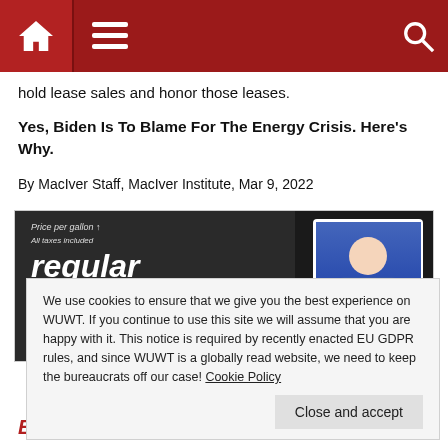Navigation bar with home, menu, and search icons
hold lease sales and honor those leases.
Yes, Biden Is To Blame For The Energy Crisis. Here's Why.
By MacIver Staff, MacIver Institute, Mar 9, 2022
[Figure (photo): Dark background gasoline price sign reading 'Price per gallon / All taxes included / regular gasoline' with a cutout image of President Biden pointing]
We use cookies to ensure that we give you the best experience on WUWT. If you continue to use this site we will assume that you are happy with it. This notice is required by recently enacted EU GDPR rules, and since WUWT is a globally read website, we need to keep the bureaucrats off our case! Cookie Policy
Close and accept
Energy Crisis: Here's Why!